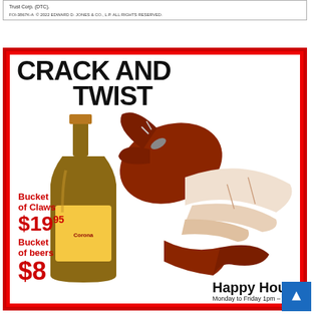Trust Corp. (DTC).
FOI-3867K-A © 2022 EDWARD D. JONES & CO., L.P. ALL RIGHTS RESERVED.
[Figure (illustration): Advertisement with red border showing 'CRACK AND TWIST' text, illustration of a lobster claw and hand opening a Corona beer bottle. Promotions: Bucket of Claws $19.95, Bucket of beers $8, Happy Hour Monday to Friday 1pm - 6pm.]